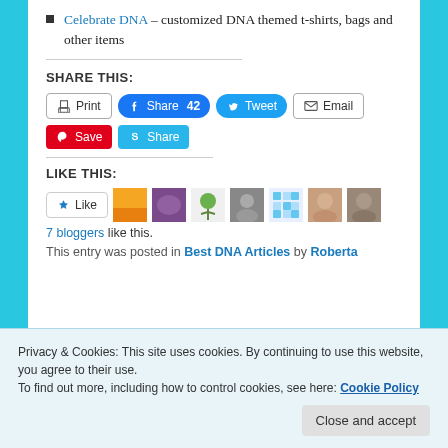Celebrate DNA – customized DNA themed t-shirts, bags and other items
SHARE THIS:
Print | Share 42 | Tweet | Email | Save | Share
LIKE THIS:
Like | 7 bloggers like this.
This entry was posted in Best DNA Articles by Roberta
Privacy & Cookies: This site uses cookies. By continuing to use this website, you agree to their use. To find out more, including how to control cookies, see here: Cookie Policy